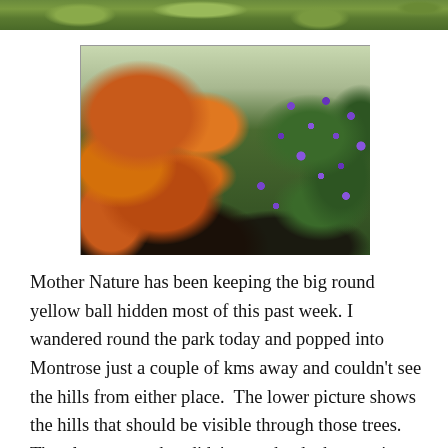[Figure (photo): Partial strip of green foliage/grass visible at the very top of the page, cropped from a larger photo above.]
[Figure (photo): Garden photo showing autumn-coloured (orange/red) foliage on the left side and green shrubs with bright purple flowers on the right side.]
Mother Nature has been keeping the big round yellow ball hidden most of this past week. I wandered round the park today and popped into Montrose just a couple of kms away and couldn't see the hills from either place.  The lower picture shows the hills that should be visible through those trees.  The gloomy weather didn't stop the ducks roosting on the poles though 🙂